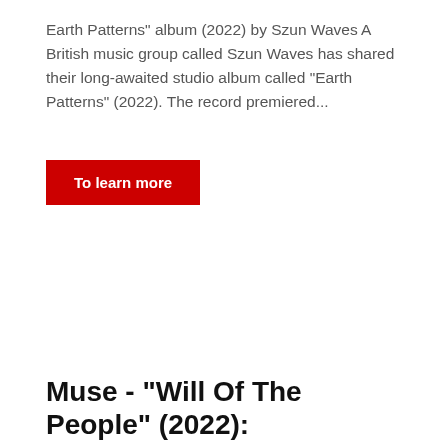Earth Patterns" album (2022) by Szun Waves A British music group called Szun Waves has shared their long-awaited studio album called "Earth Patterns" (2022). The record premiered...
To learn more
Muse - "Will Of The People" (2022):